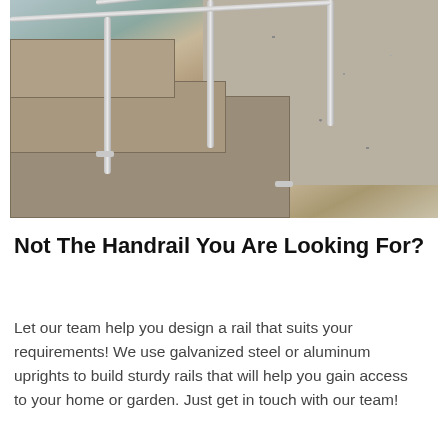[Figure (photo): Outdoor staircase with stainless steel or galvanized metal handrail posts and horizontal rail, installed on stone/brick steps next to a gravel area, with pool visible in background.]
Not The Handrail You Are Looking For?
Let our team help you design a rail that suits your requirements! We use galvanized steel or aluminum uprights to build sturdy rails that will help you gain access to your home or garden. Just get in touch with our team!